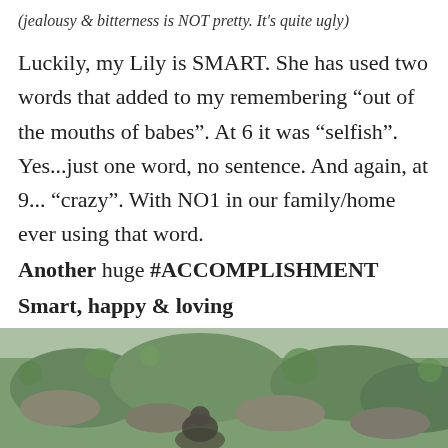(jealousy & bitterness is NOT pretty. It's quite ugly)
Luckily, my Lily is SMART. She has used two words that added to my remembering “out of the mouths of babes”. At 6 it was “selfish”. Yes...just one word, no sentence. And again, at 9... “crazy”. With NO1 in our family/home ever using that word.
Another huge #ACCOMPLISHMENT
Smart, happy & loving
♡
[Figure (photo): Outdoor photo showing a person sitting among green mossy rocks and vegetation]